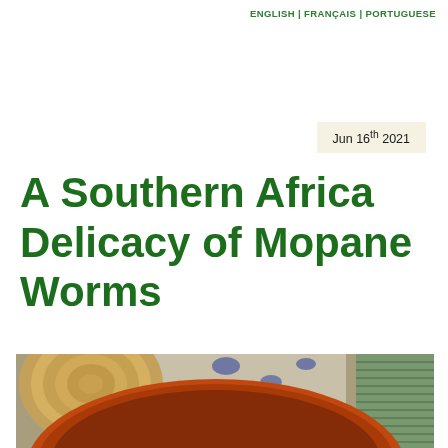ENGLISH | FRANÇAIS | PORTUGUESE
Jun 16th 2021
A Southern Africa Delicacy of Mopane Worms
[Figure (photo): Photo showing a terracotta/orange bowl, a woven plate, blue leopard-print fabric, and a green cylindrical can arranged on a surface — likely containing mopane worms.]